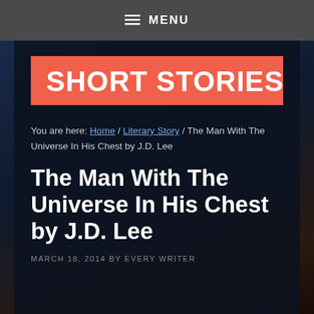≡ MENU
SHORT STORIES
You are here: Home / Literary Story / The Man With The Universe In His Chest by J.D. Lee
The Man With The Universe In His Chest by J.D. Lee
MARCH 18, 2014 BY EVERY WRITER